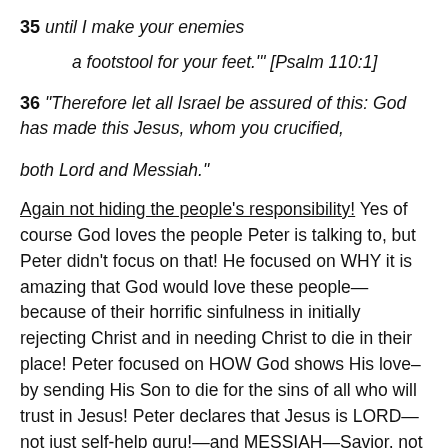35 until I make your enemies
a footstool for your feet.'’ [Psalm 110:1]
36 “Therefore let all Israel be assured of this: God has made this Jesus, whom you crucified, both Lord and Messiah.”
Again not hiding the people’s responsibility! Yes of course God loves the people Peter is talking to, but Peter didn’t focus on that! He focused on WHY it is amazing that God would love these people—because of their horrific sinfulness in initially rejecting Christ and in needing Christ to die in their place! Peter focused on HOW God shows His love–by sending His Son to die for the sins of all who will trust in Jesus! Peter declares that Jesus is LORD—not just self-help guru!—and MESSIAH—Savior, not just